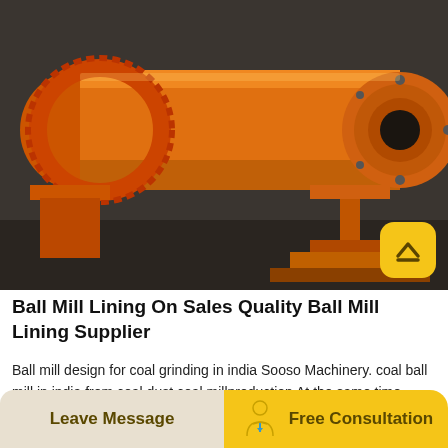[Figure (photo): Large orange industrial ball mill machine with cylindrical body, gear ring, and discharge end, photographed in a workshop/industrial setting]
Ball Mill Lining On Sales Quality Ball Mill Lining Supplier
Ball mill design for coal grinding in india Sooso Machinery. coal ball mill in india from coal dust coal millproduction At the same time water and additive are going to theball millThecoalisgrindingin themillto the size of fractions 03 mcm After addition of all China Is Laying Off
Leave Message   Free Consultation